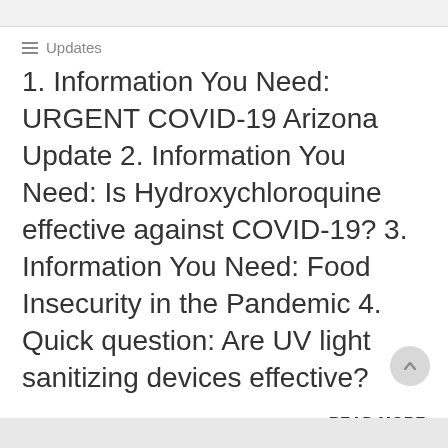Updates
1. Information You Need: URGENT COVID-19 Arizona Update 2. Information You Need: Is Hydroxychloroquine effective against COVID-19? 3. Information You Need: Food Insecurity in the Pandemic 4. Quick question: Are UV light sanitizing devices effective?
+ READ MORE